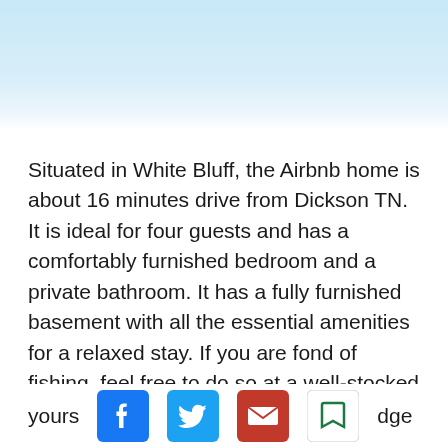[Figure (photo): Light blue gradient hero image area at top of page]
Situated in White Bluff, the Airbnb home is about 16 minutes drive from Dickson TN. It is ideal for four guests and has a comfortably furnished bedroom and a private bathroom. It has a fully furnished basement with all the essential amenities for a relaxed stay. If you are fond of fishing, feel free to do so at a well-stocked fishing pond within the premises. Exercise equipment and treadmill are also available to keep yours…dge
[Figure (screenshot): Social sharing bar with Facebook, Twitter, Email, and Bookmark icons at the bottom of the page]